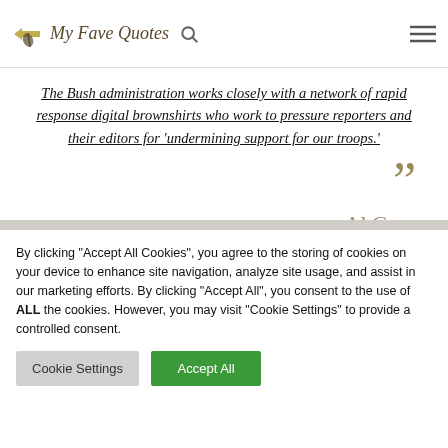My Fave Quotes
The Bush administration works closely with a network of rapid response digital brownshirts who work to pressure reporters and their editors for ‘undermining support for our troops.’
Al Gore
By clicking “Accept All Cookies”, you agree to the storing of cookies on your device to enhance site navigation, analyze site usage, and assist in our marketing efforts. By clicking “Accept All”, you consent to the use of ALL the cookies. However, you may visit "Cookie Settings" to provide a controlled consent.